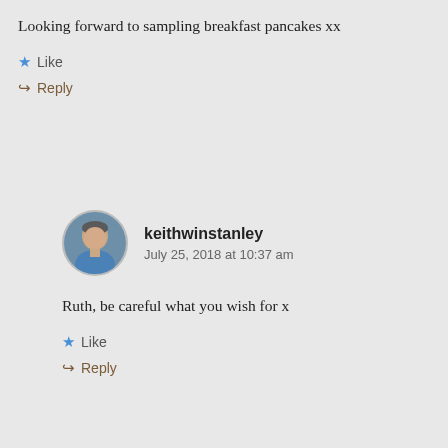Looking forward to sampling breakfast pancakes xx
Like
Reply
keithwinstanley
July 25, 2018 at 10:37 am
Ruth, be careful what you wish for x
Like
Reply